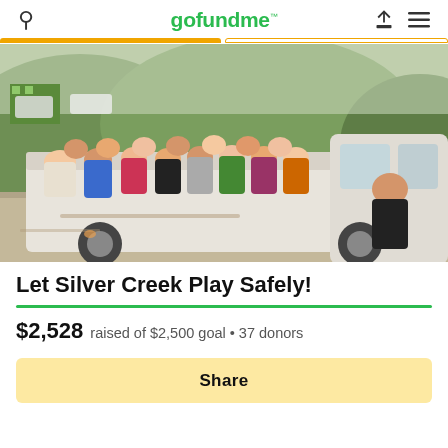gofundme
[Figure (photo): A group of children and adults riding in the bed of a white pickup truck on a dirt road, with green hills and buildings in the background. A woman is visible in the passenger side of the cab.]
Let Silver Creek Play Safely!
$2,528 raised of $2,500 goal • 37 donors
Share